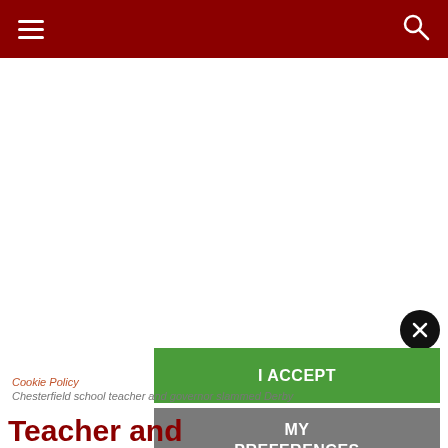Navigation bar with hamburger menu and search icon
[Figure (screenshot): White blank area below nav bar (advertisement or image placeholder)]
[Figure (other): Close button (X) black circle]
[Figure (other): I ACCEPT green button for cookie consent]
[Figure (other): MY PREFERENCES grey button for cookie consent]
Cookie Policy
Chesterfield school teacher and governor slammed Derby
Teacher and governor Th...